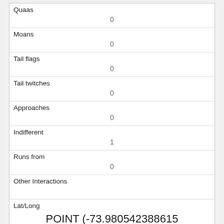| Quaas | 0 |
| Moans | 0 |
| Tail flags | 0 |
| Tail twitches | 0 |
| Approaches | 0 |
| Indifferent | 1 |
| Runs from | 0 |
| Other Interactions |  |
| Lat/Long | POINT (-73.980542388615 40.7682048804794) |
| Link |  |